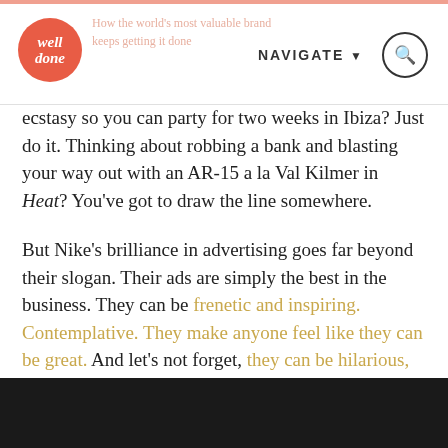well done | NAVIGATE
ecstasy so you can party for two weeks in Ibiza? Just do it. Thinking about robbing a bank and blasting your way out with an AR-15 a la Val Kilmer in Heat? You've got to draw the line somewhere.
But Nike's brilliance in advertising goes far beyond their slogan. Their ads are simply the best in the business. They can be frenetic and inspiring. Contemplative. They make anyone feel like they can be great. And let's not forget, they can be hilarious, too. I can watch Nike ads all day.
[Figure (photo): Dark/black strip at bottom of page, appears to be a video thumbnail or image beginning]